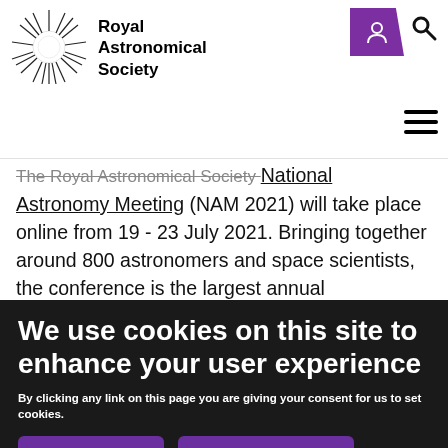[Figure (logo): Royal Astronomical Society logo with circular starburst emblem and text 'Royal Astronomical Society']
The Royal Astronomical Society National Astronomy Meeting (NAM 2021) will take place online from 19 - 23 July 2021. Bringing together around 800 astronomers and space scientists, the conference is the largest annual professional astronomy and space science
We use cookies on this site to enhance your user experience
By clicking any link on this page you are giving your consent for us to set cookies.
OK, I agree | Give me more info